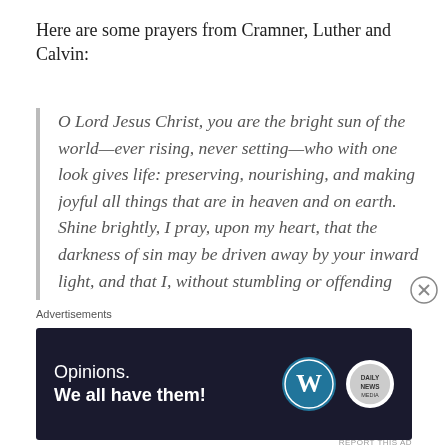Here are some prayers from Cramner, Luther and Calvin:
O Lord Jesus Christ, you are the bright sun of the world—ever rising, never setting—who with one look gives life: preserving, nourishing, and making joyful all things that are in heaven and on earth. Shine brightly, I pray, upon my heart, that the darkness of sin may be driven away by your inward light, and that I, without stumbling or offending you in any way, may walk in the pure light of day all my life. Grant this
Advertisements
[Figure (other): Advertisement banner with dark background reading 'Opinions. We all have them!' with WordPress and Daily News logos]